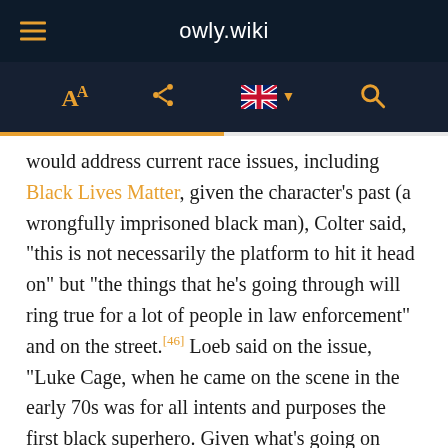owly.wiki
[Figure (screenshot): Toolbar with font size, share, UK flag language selector, and search icons on dark navy background]
would address current race issues, including Black Lives Matter, given the character's past (a wrongfully imprisoned black man), Colter said, "this is not necessarily the platform to hit it head on" but "the things that he's going through will ring true for a lot of people in law enforcement" and on the street.[46] Loeb said on the issue, "Luke Cage, when he came on the scene in the early 70s was for all intents and purposes the first black superhero. Given what's going on present day, it just resonates." Coker stated that Cage is "someone that the community can touch and go to", adding, "There's never been a time in history such as